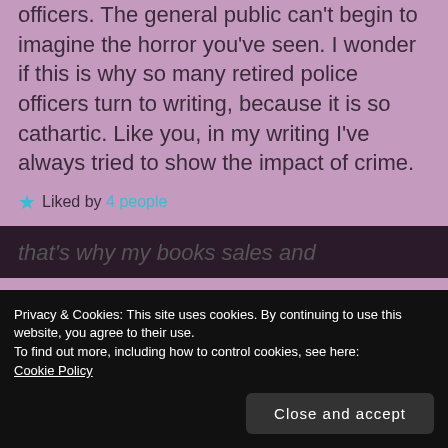officers. The general public can't begin to imagine the horror you've seen. I wonder if this is why so many retired police officers turn to writing, because it is so cathartic. Like you, in my writing I've always tried to show the impact of crime.
Liked by 4 people
REPLY
Privacy & Cookies: This site uses cookies. By continuing to use this website, you agree to their use.
To find out more, including how to control cookies, see here: Cookie Policy
Close and accept
that's why my books sales and